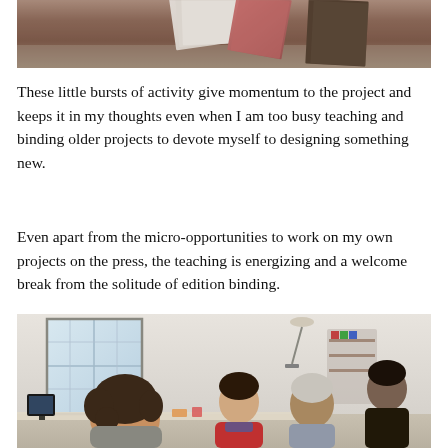[Figure (photo): Top portion of a photo showing papers and bookbinding materials on a work surface, with pink/red covered books or folders visible]
These little bursts of activity give momentum to the project and keeps it in my thoughts even when I am too busy teaching and binding older projects to devote myself to designing something new.
Even apart from the micro-opportunities to work on my own projects on the press, the teaching is energizing and a welcome break from the solitude of edition binding.
[Figure (photo): Workshop scene with several people at tables in a bright studio with large windows. A person with curly hair is in the foreground, a person in red is in the middle, and two people are seen from behind on the right side.]